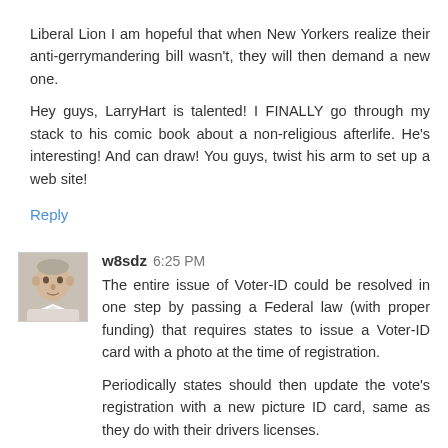Liberal Lion I am hopeful that when New Yorkers realize their anti-gerrymandering bill wasn't, they will then demand a new one.

Hey guys, LarryHart is talented! I FINALLY go through my stack to his comic book about a non-religious afterlife. He's interesting! And can draw! You guys, twist his arm to set up a web site!
Reply
[Figure (photo): Avatar photo of user w8sdz, showing an older man in a light-colored shirt]
w8sdz 6:25 PM
The entire issue of Voter-ID could be resolved in one step by passing a Federal law (with proper funding) that requires states to issue a Voter-ID card with a photo at the time of registration.

Periodically states should then update the vote's registration with a new picture ID card, same as they do with their drivers licenses.